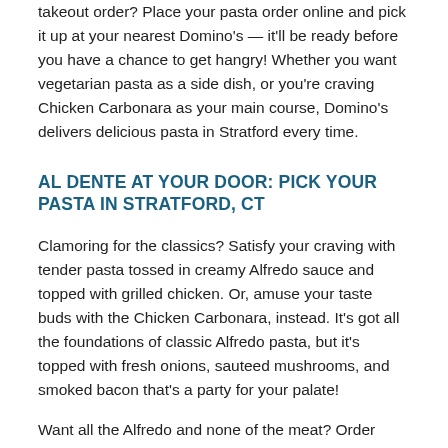takeout order? Place your pasta order online and pick it up at your nearest Domino's — it'll be ready before you have a chance to get hangry! Whether you want vegetarian pasta as a side dish, or you're craving Chicken Carbonara as your main course, Domino's delivers delicious pasta in Stratford every time.
AL DENTE AT YOUR DOOR: PICK YOUR PASTA IN STRATFORD, CT
Clamoring for the classics? Satisfy your craving with tender pasta tossed in creamy Alfredo sauce and topped with grilled chicken. Or, amuse your taste buds with the Chicken Carbonara, instead. It's got all the foundations of classic Alfredo pasta, but it's topped with fresh onions, sauteed mushrooms, and smoked bacon that's a party for your palate!
Want all the Alfredo and none of the meat? Order Pasta Primavera that'll make your vegetarian dreams come true. It offers a hearty serving of sauteed mushrooms, sliced tomatoes, , and fresh spinach, tossed with al dente penne in a mouth-watering Alfredo sauce. Leaning more towards red sauce? Turn up the heat by ordering Italian Sausage Marinara pasta. It's got